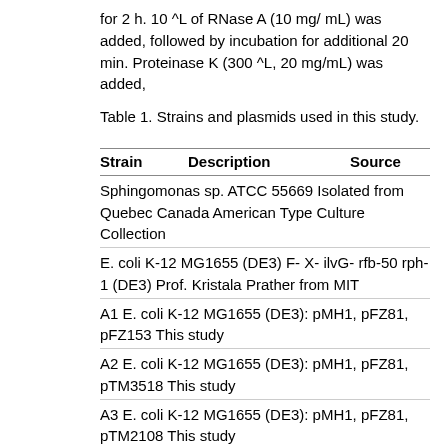for 2 h. 10 ^L of RNase A (10 mg/ mL) was added, followed by incubation for additional 20 min. Proteinase K (300 ^L, 20 mg/mL) was added,
Table 1. Strains and plasmids used in this study.
| Strain | Description | Source |
| --- | --- | --- |
| Sphingomonas sp. ATCC 55669 | Isolated from Quebec Canada | American Type Culture Collection |
|  | E. coli K-12 MG1655 (DE3) F- X- ilvG- rfb-50 rph-1 (DE3) | Prof. Kristala Prather from MIT |
| A1 | E. coli K-12 MG1655 (DE3): pMH1, pFZ81, pFZ153 | This study |
| A2 | E. coli K-12 MG1655 (DE3): pMH1, pFZ81, pTM3518 | This study |
| A3 | E. coli K-12 MG1655 (DE3): pMH1, pFZ81, pTM2108 | This study |
| A4 | E. coli K-12 MG1655 (DE3): pMH1, pFZ81, pTM0906 | This study |
| A5 | E. coli K-12 MG1655 (DE3): pMH1, pFZ81, pTM2930 | This study |